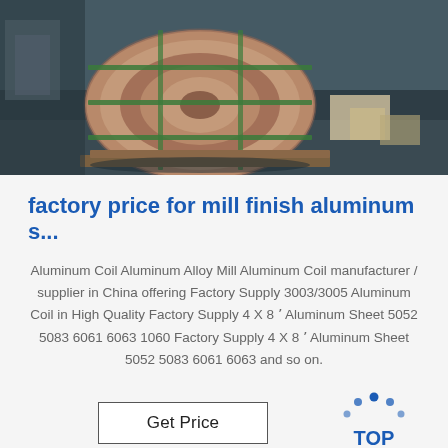[Figure (photo): Large aluminum coil rolls wrapped with brown paper and green strapping, stored in an industrial warehouse/factory setting on a pallet.]
factory price for mill finish aluminum s...
Aluminum Coil Aluminum Alloy Mill Aluminum Coil manufacturer / supplier in China offering Factory Supply 3003/3005 Aluminum Coil in High Quality Factory Supply 4 X 8 ‘ Aluminum Sheet 5052 5083 6061 6063 1060 Factory Supply 4 X 8 ‘ Aluminum Sheet 5052 5083 6061 6063 and so on.
[Figure (photo): Bottom portion showing aluminum sheets/coils in an industrial setting, partially visible.]